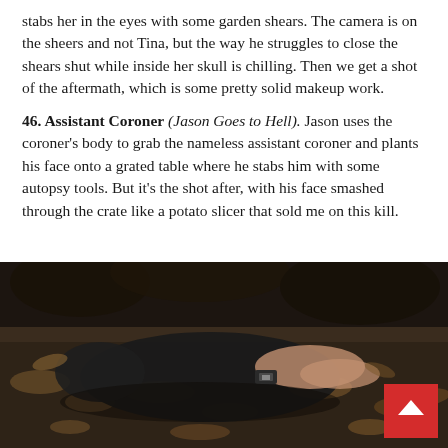stabs her in the eyes with some garden shears. The camera is on the sheers and not Tina, but the way he struggles to close the shears shut while inside her skull is chilling. Then we get a shot of the aftermath, which is some pretty solid makeup work.
46. Assistant Coroner (Jason Goes to Hell). Jason uses the coroner's body to grab the nameless assistant coroner and plants his face onto a grated table where he stabs him with some autopsy tools. But it's the shot after, with his face smashed through the crate like a potato slicer that sold me on this kill.
[Figure (photo): Dark, moody photo of a person lying face-down on a forest floor covered in autumn leaves and dirt. The figure is wearing dark clothing. A red scroll-to-top button appears in the bottom-right corner.]